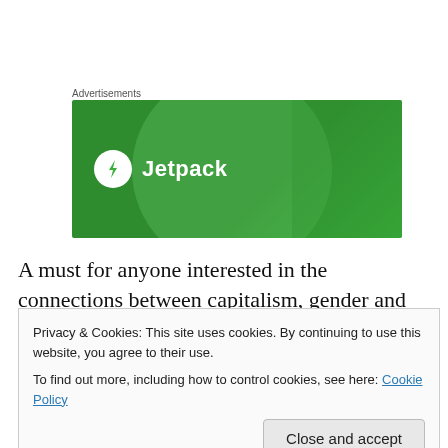Advertisements
[Figure (logo): Jetpack advertisement banner - green background with Jetpack logo (lightning bolt in white circle) and text 'Jetpack']
A must for anyone interested in the connections between capitalism, gender and colonialism.
Full book here: http://libcom.org/library/caliban-witch-silvia-
Privacy & Cookies: This site uses cookies. By continuing to use this website, you agree to their use.
To find out more, including how to control cookies, see here: Cookie Policy
Close and accept
[Figure (other): Red banner at bottom, partially visible]